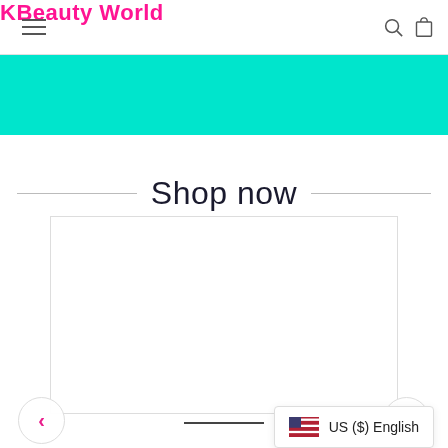KBeauty World
[Figure (other): Teal/cyan colored banner strip below the navigation header]
Shop now
[Figure (other): Empty white product card/carousel area with a horizontal line indicator at the bottom, left and right pink navigation arrows, and a US ($) English currency selector widget in the bottom right corner]